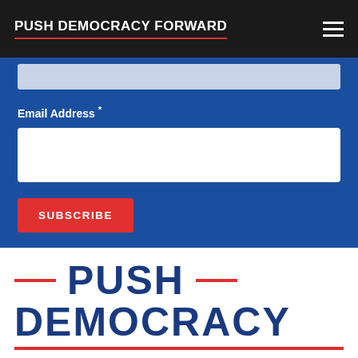PUSH DEMOCRACY FORWARD
Email Address *
[Figure (screenshot): Email address input field (white rectangle)]
[Figure (screenshot): SUBSCRIBE button (red)]
PUSH DEMOCRACY